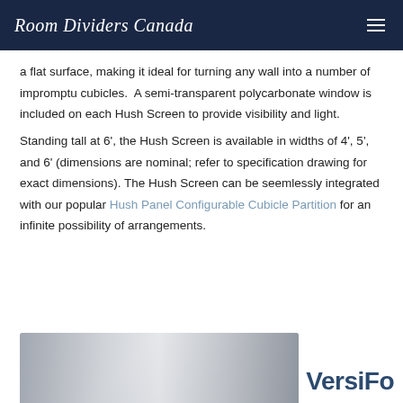Room Dividers Canada
a flat surface, making it ideal for turning any wall into a number of impromptu cubicles.  A semi-transparent polycarbonate window is included on each Hush Screen to provide visibility and light.
Standing tall at 6', the Hush Screen is available in widths of 4', 5', and 6' (dimensions are nominal; refer to specification drawing for exact dimensions). The Hush Screen can be seemlessly integrated with our popular Hush Panel Configurable Cubicle Partition for an infinite possibility of arrangements.
[Figure (photo): Product photo showing a room divider/cubicle partition panel, partially cropped at bottom of page]
VersiF…